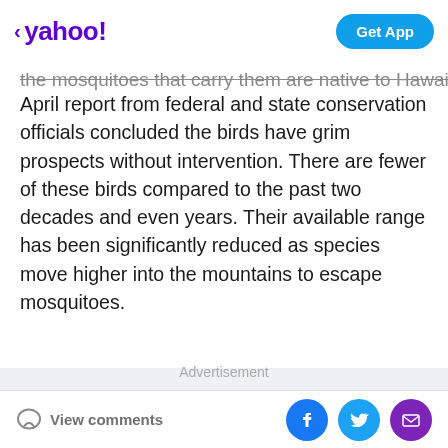< yahoo! | Get App
the mosquitoes that carry them are native to Hawaii. An April report from federal and state conservation officials concluded the birds have grim prospects without intervention. There are fewer of these birds compared to the past two decades and even years. Their available range has been significantly reduced as species move higher into the mountains to escape mosquitoes.
Advertisement
View comments